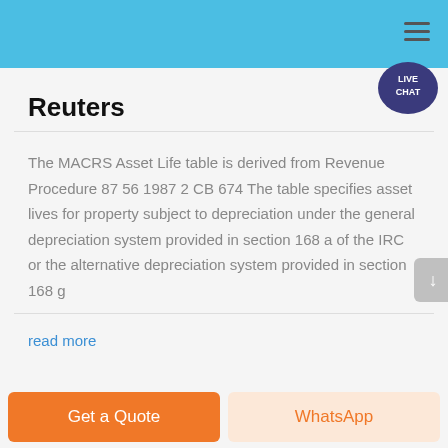Reuters
The MACRS Asset Life table is derived from Revenue Procedure 87 56 1987 2 CB 674 The table specifies asset lives for property subject to depreciation under the general depreciation system provided in section 168 a of the IRC or the alternative depreciation system provided in section 168 g
read more